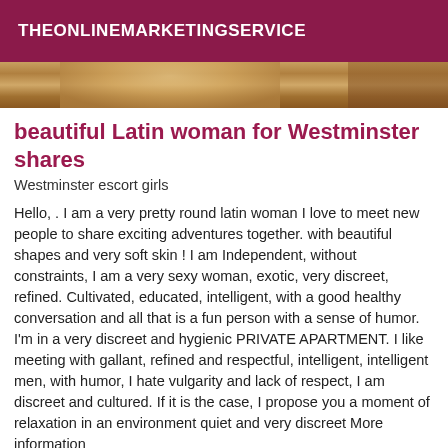THEONLINEMARKETINGSERVICE
[Figure (photo): Partial photo of a person, cropped, showing upper body area with warm tones]
beautiful Latin woman for Westminster shares
Westminster escort girls
Hello, . I am a very pretty round latin woman I love to meet new people to share exciting adventures together. with beautiful shapes and very soft skin ! I am Independent, without constraints, I am a very sexy woman, exotic, very discreet, refined. Cultivated, educated, intelligent, with a good healthy conversation and all that is a fun person with a sense of humor. I'm in a very discreet and hygienic PRIVATE APARTMENT. I like meeting with gallant, refined and respectful, intelligent, intelligent men, with humor, I hate vulgarity and lack of respect, I am discreet and cultured. If it is the case, I propose you a moment of relaxation in an environment quiet and very discreet More information